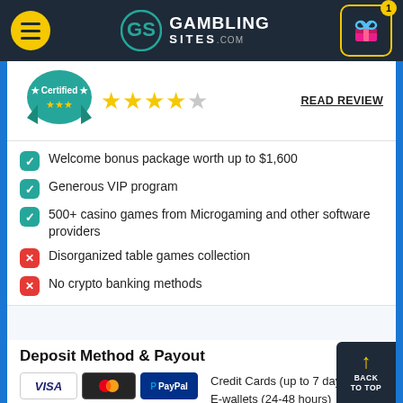GamblingsSites.com navigation bar
[Figure (logo): Certified badge with green ribbon and gold stars (4 out of 5)]
READ REVIEW
Welcome bonus package worth up to $1,600
Generous VIP program
500+ casino games from Microgaming and other software providers
Disorganized table games collection
No crypto banking methods
Deposit Method & Payout
[Figure (logo): Payment logos: VISA, MasterCard, PayPal, +20 More]
Credit Cards (up to 7 days)
E-wallets (24-48 hours)